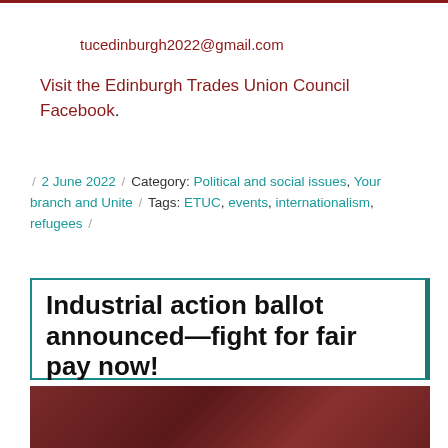tucedinburgh2022@gmail.com
Visit the Edinburgh Trades Union Council Facebook.
/ 2 June 2022 / Category: Political and social issues, Your branch and Unite / Tags: ETUC, events, internationalism, refugees /
Industrial action ballot announced—fight for fair pay now!
[Figure (photo): Partial photo strip at bottom of page, showing a dark reddish-brown image, likely a crowd or protest scene]